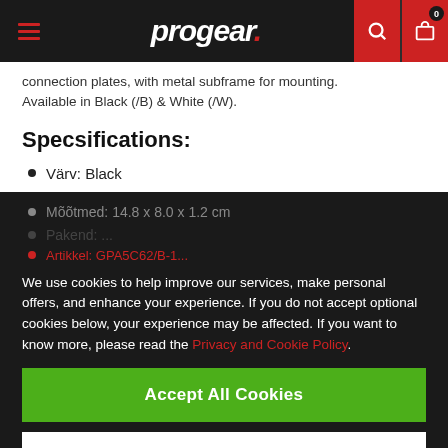progear.
connection plates, with metal subframe for mounting. Available in Black (/B) & White (/W).
Specsifications:
Värv: Black
Mõõtmed: 14.8 x 8.0 x 1.2 cm
Pakend: ...
Artikkel: GPA5C62/B-L...
We use cookies to help improve our services, make personal offers, and enhance your experience. If you do not accept optional cookies below, your experience may be affected. If you want to know more, please read the Privacy and Cookie Policy.
Accept All Cookies
Custom Settings